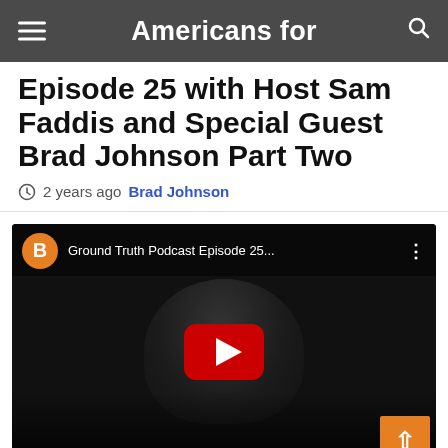Americans for
Episode 25 with Host Sam Faddis and Special Guest Brad Johnson Part Two
2 years ago  Brad Johnson
[Figure (screenshot): YouTube video embed showing Ground Truth Podcast Episode 25 with a black and white thumbnail of a person at a microphone, with a red YouTube play button overlay. Channel icon shows orange circle with letter B.]